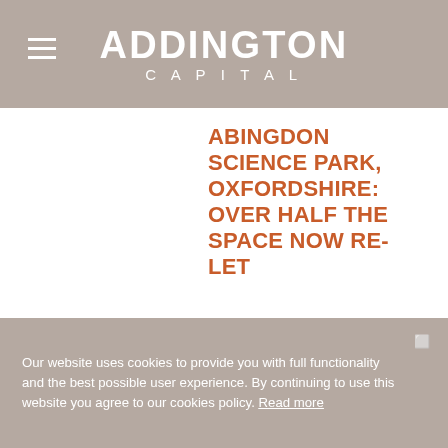ADDINGTON CAPITAL
ABINGDON SCIENCE PARK, OXFORDSHIRE: OVER HALF THE SPACE NOW RE-LET
Europa Capital and Addington Capital Announce two further new Lettings at The Quadrant, Abingdon Science Park, Oxfordshire:
Our website uses cookies to provide you with full functionality and the best possible user experience. By continuing to use this website you agree to our cookies policy. Read more